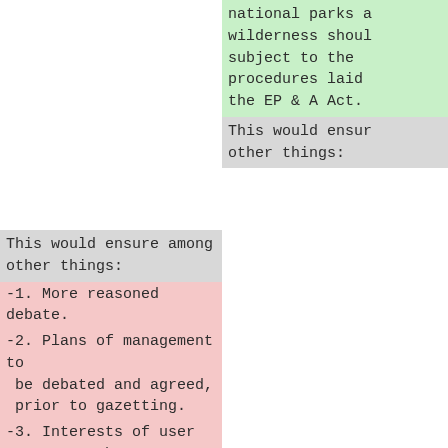national parks a wilderness shoul subject to the procedures laid the EP & A Act.
This would ensure among other things:
This would ensur other things:
-1. More reasoned debate.
-2. Plans of management to be debated and agreed, prior to gazetting.
-3. Interests of user groups such as
-bushwalkers to be better addressed
-The Sydney Bushwalker: First Edition July 1931
-Official publication of The Sydney Bush Walkers Inc.
-The Sydney Bushwalker...